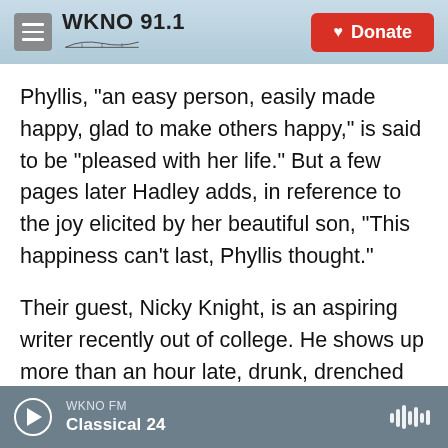WKNO 91.1 | Donate
Phyllis, "an easy person, easily made happy, glad to make others happy," is said to be "pleased with her life." But a few pages later Hadley adds, in reference to the joy elicited by her beautiful son, "This happiness can't last, Phyllis thought."
Their guest, Nicky Knight, is an aspiring writer recently out of college. He shows up more than an hour late, drunk, drenched and disparaging the spoils of capitalism. Phyllis begins to look at "the whole domestic edifice" of her life differently, through his eyes — "the whole deadly enticement of a bourgeois life, ordered and upholstered and
WKNO FM | Classical 24